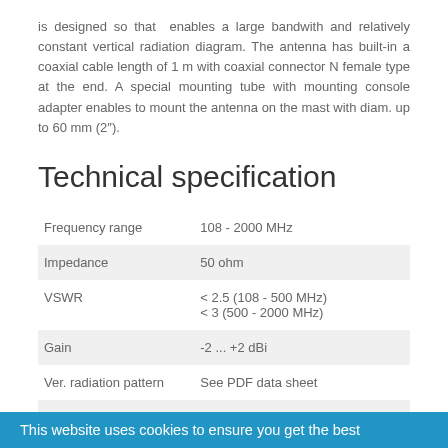is designed so that enables a large bandwith and relatively constant vertical radiation diagram. The antenna has built-in a coaxial cable length of 1 m with coaxial connector N female type at the end. A special mounting tube with mounting console adapter enables to mount the antenna on the mast with diam. up to 60 mm (2").
Technical specification
|  |  |
| --- | --- |
| Frequency range | 108 - 2000 MHz |
| Impedance | 50 ohm |
| VSWR | < 2.5 (108 - 500 MHz)
< 3 (500 - 2000 MHz) |
| Gain | -2 ... +2 dBi |
| Ver. radiation pattern | See PDF data sheet |
This website uses cookies to ensure you get the best